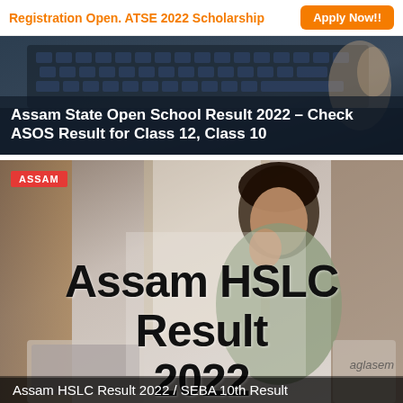Registration Open. ATSE 2022 Scholarship   Apply Now!!
[Figure (photo): Person using laptop keyboard, used as background for Assam State Open School Result article card]
Assam State Open School Result 2022 – Check ASOS Result for Class 12, Class 10
[Figure (photo): Woman studying/thinking at desk with laptop, background for Assam HSLC Result 2022 article. Red ASSAM tag top-left. Large bold text 'Assam HSLC Result 2022' overlaid. aglasem watermark bottom-right.]
Assam HSLC Result 2022 / SEBA 10th Result